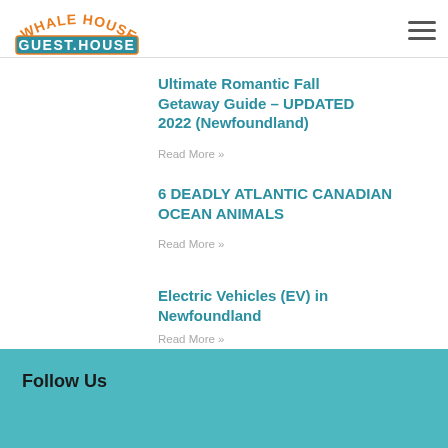Whale House Guest House
Ultimate Romantic Fall Getaway Guide – UPDATED 2022 (Newfoundland)
Read More »
6 DEADLY ATLANTIC CANADIAN OCEAN ANIMALS
Read More »
Electric Vehicles (EV) in Newfoundland
Read More »
Follow Us